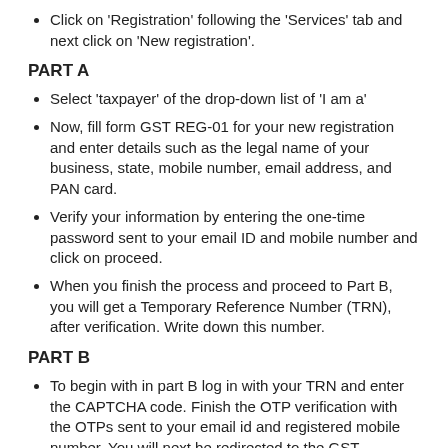Click on 'Registration' following the 'Services' tab and next click on 'New registration'.
PART A
Select 'taxpayer' of the drop-down list of 'I am a'
Now, fill form GST REG-01 for your new registration and enter details such as the legal name of your business, state, mobile number, email address, and PAN card.
Verify your information by entering the one-time password sent to your email ID and mobile number and click on proceed.
When you finish the process and proceed to Part B, you will get a Temporary Reference Number (TRN), after verification. Write down this number.
PART B
To begin with in part B log in with your TRN and enter the CAPTCHA code. Finish the OTP verification with the OTPs sent to your email id and registered mobile number. You will next be redirected to the GST registration page.
Now, submit business data such as the name of